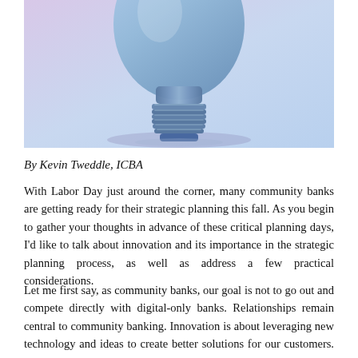[Figure (photo): A blue-tinted lightbulb photographed against a soft lavender and light blue gradient background. The bottom base of the bulb with ridged threading is visible, centered. The image is cropped to show mostly the lower half and base of the bulb.]
By Kevin Tweddle, ICBA
With Labor Day just around the corner, many community banks are getting ready for their strategic planning this fall. As you begin to gather your thoughts in advance of these critical planning days, I'd like to talk about innovation and its importance in the strategic planning process, as well as address a few practical considerations.
Let me first say, as community banks, our goal is not to go out and compete directly with digital-only banks. Relationships remain central to community banking. Innovation is about leveraging new technology and ideas to create better solutions for our customers. So, innovating in community banking is